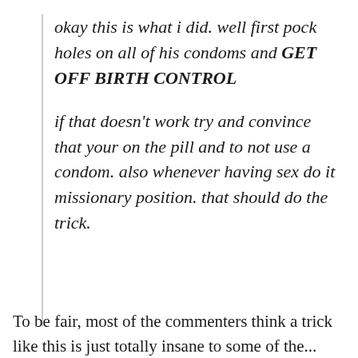okay this is what i did. well first pock holes on all of his condoms and GET OFF BIRTH CONTROL

if that doesn't work try and convince that your on the pill and to not use a condom. also whenever having sex do it missionary position. that should do the trick.
To be fair, most of the commenters think a trick like this is just totally insane to some of the...